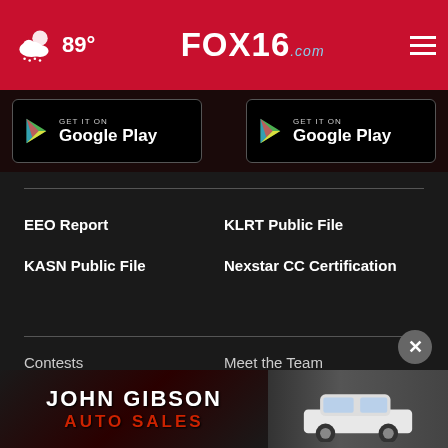89° FOX16.com
[Figure (screenshot): Google Play store button (left)]
[Figure (screenshot): Google Play store button (right)]
EEO Report
KLRT Public File
KASN Public File
Nexstar CC Certification
Contests
Meet the Team
TV Schedule
About Us
Contac...
[Figure (photo): John Gibson Auto Sales advertisement banner with red and black lettering and a white SUV on the right]